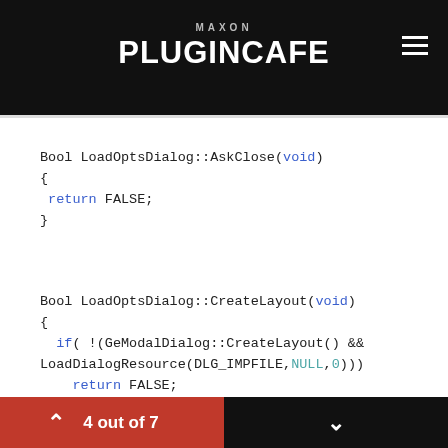MAXON PLUGINCAFE
Bool LoadOptsDialog::AskClose(void)
{
 return FALSE;
}
Bool LoadOptsDialog::CreateLayout(void)
{
 if( !(GeModalDialog::CreateLayout() &&
LoadDialogResource(DLG_IMPFILE,NULL,0)))
    return FALSE;
4 out of 7